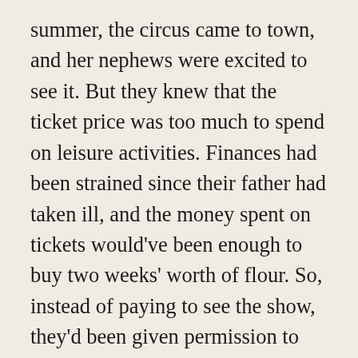summer, the circus came to town, and her nephews were excited to see it. But they knew that the ticket price was too much to spend on leisure activities. Finances had been strained since their father had taken ill, and the money spent on tickets would've been enough to buy two weeks' worth of flour. So, instead of paying to see the show, they'd been given permission to see the circus parade. With freshly laundered clothes, the barefoot boys ran into town to see the procession from the railroad to the site where the tents would be erected. Aunt Mary and the boys' mother expected them home for lunch, but mealtime came and went without them.